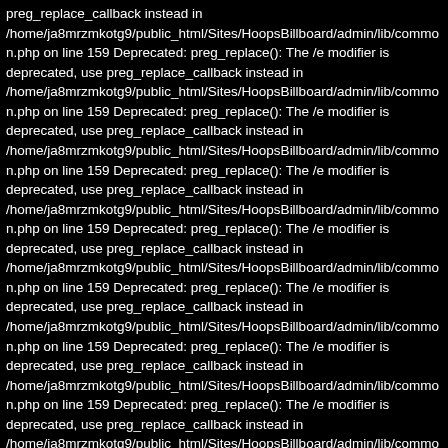preg_replace_callback instead in /home/ja8mrzmkotg9/public_html/Sites/HoopsBillboard/admin/lib/common.php on line 159 Deprecated: preg_replace(): The /e modifier is deprecated, use preg_replace_callback instead in /home/ja8mrzmkotg9/public_html/Sites/HoopsBillboard/admin/lib/common.php on line 159 Deprecated: preg_replace(): The /e modifier is deprecated, use preg_replace_callback instead in /home/ja8mrzmkotg9/public_html/Sites/HoopsBillboard/admin/lib/common.php on line 159 Deprecated: preg_replace(): The /e modifier is deprecated, use preg_replace_callback instead in /home/ja8mrzmkotg9/public_html/Sites/HoopsBillboard/admin/lib/common.php on line 159 Deprecated: preg_replace(): The /e modifier is deprecated, use preg_replace_callback instead in /home/ja8mrzmkotg9/public_html/Sites/HoopsBillboard/admin/lib/common.php on line 159 Deprecated: preg_replace(): The /e modifier is deprecated, use preg_replace_callback instead in /home/ja8mrzmkotg9/public_html/Sites/HoopsBillboard/admin/lib/common.php on line 159 Deprecated: preg_replace(): The /e modifier is deprecated, use preg_replace_callback instead in /home/ja8mrzmkotg9/public_html/Sites/HoopsBillboard/admin/lib/common.php on line 159 Deprecated: preg_replace(): The /e modifier is deprecated, use preg_replace_callback instead in /home/ja8mrzmkotg9/public_html/Sites/HoopsBillboard/admin/lib/common.php on